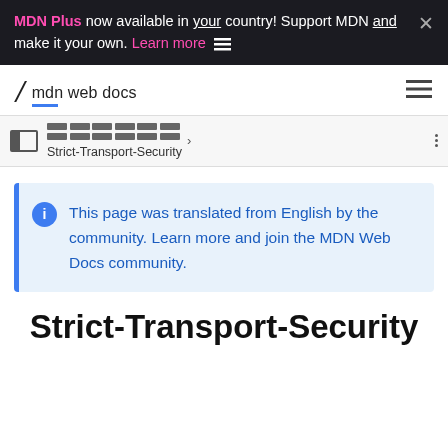MDN Plus now available in your country! Support MDN and make it your own. Learn more
[Figure (logo): MDN Web Docs logo with italic M slash and text 'mdn web docs' with blue underline]
[Figure (screenshot): Breadcrumb navigation bar with sidebar toggle icon, redacted breadcrumb pills, chevron, Strict-Transport-Security text, and three-dot menu]
This page was translated from English by the community. Learn more and join the MDN Web Docs community.
Strict-Transport-Security